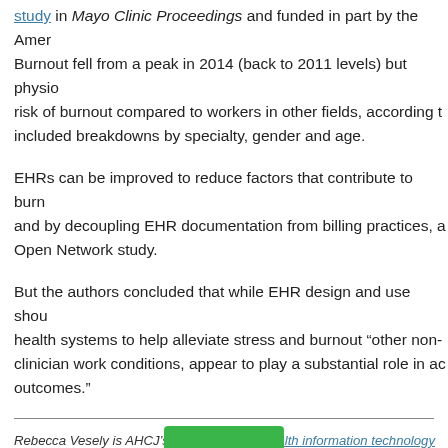study in Mayo Clinic Proceedings and funded in part by the Ame... Burnout fell from a peak in 2014 (back to 2011 levels) but physio... risk of burnout compared to workers in other fields, according t... included breakdowns by specialty, gender and age.
EHRs can be improved to reduce factors that contribute to burn... and by decoupling EHR documentation from billing practices, a... Open Network study.
But the authors concluded that while EHR design and use shou... health systems to help alleviate stress and burnout “other non-... clinician work conditions, appear to play a substantial role in ac... outcomes.”
Rebecca Vesely is AHCJ’s topic leader on health information technology and a freelance wr... science and medicine for AFP, the Bay Area News Group, Modern Healthcare, Wired, Scien... other news outlets.
This entry was posted in Health information technology and tagged burn...